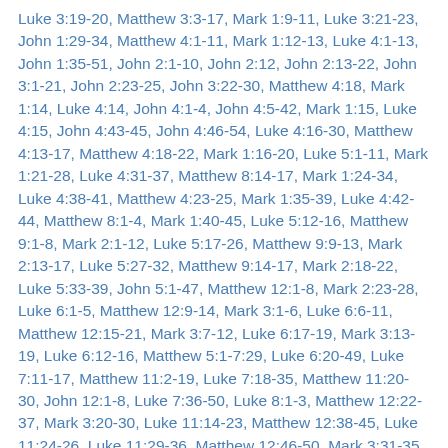Luke 3:19-20, Matthew 3:3-17, Mark 1:9-11, Luke 3:21-23, John 1:29-34, Matthew 4:1-11, Mark 1:12-13, Luke 4:1-13, John 1:35-51, John 2:1-10, John 2:12, John 2:13-22, John 3:1-21, John 2:23-25, John 3:22-30, Matthew 4:18, Mark 1:14, Luke 4:14, John 4:1-4, John 4:5-42, Mark 1:15, Luke 4:15, John 4:43-45, John 4:46-54, Luke 4:16-30, Matthew 4:13-17, Matthew 4:18-22, Mark 1:16-20, Luke 5:1-11, Mark 1:21-28, Luke 4:31-37, Matthew 8:14-17, Mark 1:24-34, Luke 4:38-41, Matthew 4:23-25, Mark 1:35-39, Luke 4:42-44, Matthew 8:1-4, Mark 1:40-45, Luke 5:12-16, Matthew 9:1-8, Mark 2:1-12, Luke 5:17-26, Matthew 9:9-13, Mark 2:13-17, Luke 5:27-32, Matthew 9:14-17, Mark 2:18-22, Luke 5:33-39, John 5:1-47, Matthew 12:1-8, Mark 2:23-28, Luke 6:1-5, Matthew 12:9-14, Mark 3:1-6, Luke 6:6-11, Matthew 12:15-21, Mark 3:7-12, Luke 6:17-19, Mark 3:13-19, Luke 6:12-16, Matthew 5:1-7:29, Luke 6:20-49, Luke 7:11-17, Matthew 11:2-19, Luke 7:18-35, Matthew 11:20-30, John 12:1-8, Luke 7:36-50, Luke 8:1-3, Matthew 12:22-37, Mark 3:20-30, Luke 11:14-23, Matthew 12:38-45, Luke 11:24-26, Luke 11:29-36, Matthew 12:46-50, Mark 3:31-35, Luke 8:19-21, Matthew 13:1-52, Mark 4:1-34, Luke 8:4-18, Matthew 8:23-27, Mark 4:35-41, Luke 8:22-25, Matthew 8:28-34, Mark 5:1-20, Luke 8:26-39, Matthew 9:18-26, Mark 5:21-43, Luke 8:40-56, Matthew 9:27-31, Matthew 9:32-34, Matthew 13:53-58, Mark 6:1-6, Matthew 9:35-11:1, Mark 6:6-13, Luke 9:1-6, Matthew 14:1-12, Mark 6:14-